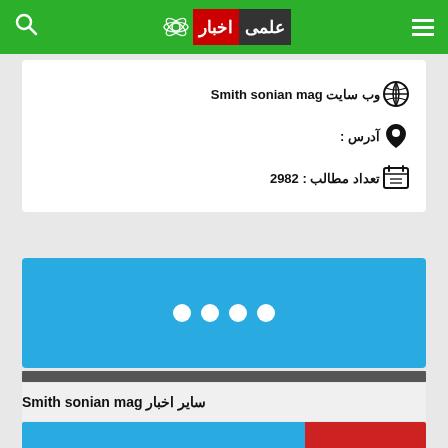اخبار علمی - Smith sonian mag
وب سایت Smith sonian mag
آدرس :
تعداد مطالب : 2982
[Figure (other): Blue card with four white dots (loading indicator)]
سایر اخبار Smith sonian mag
[Figure (photo): Partial image strip at bottom of page]